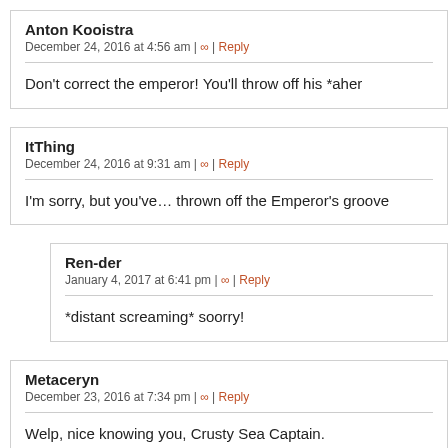Anton Kooistra
December 24, 2016 at 4:56 am | ∞ | Reply
Don't correct the emperor! You'll throw off his *aher
ItThing
December 24, 2016 at 9:31 am | ∞ | Reply
I'm sorry, but you've… thrown off the Emperor's groove
Ren-der
January 4, 2017 at 6:41 pm | ∞ | Reply
*distant screaming* soorry!
Metaceryn
December 23, 2016 at 7:34 pm | ∞ | Reply
Welp, nice knowing you, Crusty Sea Captain.